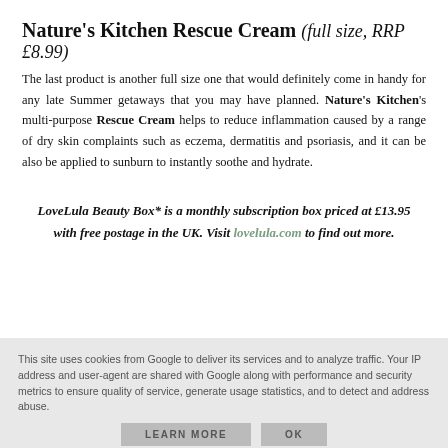Nature's Kitchen Rescue Cream (full size, RRP £8.99)
The last product is another full size one that would definitely come in handy for any late Summer getaways that you may have planned. Nature's Kitchen's multi-purpose Rescue Cream helps to reduce inflammation caused by a range of dry skin complaints such as eczema, dermatitis and psoriasis, and it can be also be applied to sunburn to instantly soothe and hydrate.
LoveLula Beauty Box* is a monthly subscription box priced at £13.95 with free postage in the UK. Visit lovelula.com to find out more.
This site uses cookies from Google to deliver its services and to analyze traffic. Your IP address and user-agent are shared with Google along with performance and security metrics to ensure quality of service, generate usage statistics, and to detect and address abuse.